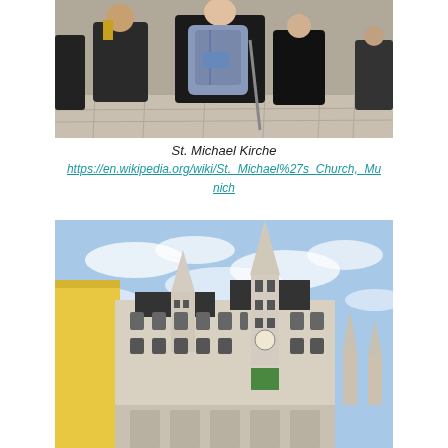[Figure (photo): Photo of people walking in a city square, viewed from behind. A person with a gray backpack is prominent in the center. Stone paved plaza visible.]
St. Michael Kirche
https://en.wikipedia.org/wiki/St._Michael%27s_Church,_Munich
[Figure (photo): Photo of a large Gothic-style church or city hall building with tall ornate tower/spire against a blue sky with white clouds. Yellow building visible on the left edge.]